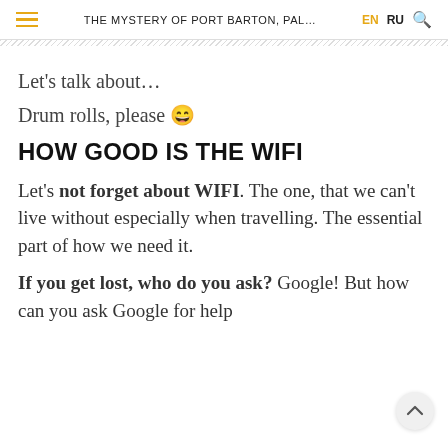THE MYSTERY OF PORT BARTON, PAL... EN RU
Let's talk about…
Drum rolls, please 😁
HOW GOOD IS THE WIFI
Let's not forget about WIFI. The one, that we can't live without especially when travelling. The essential part of how we need it.
If you get lost, who do you ask? Google! But how can you ask Google for help